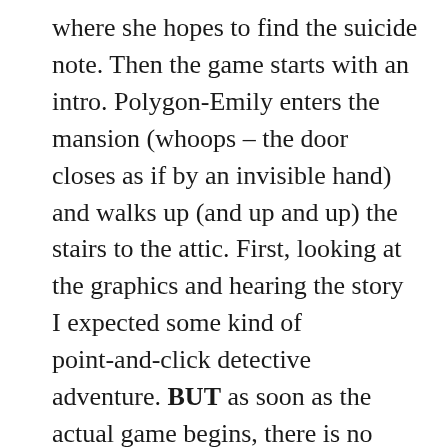where she hopes to find the suicide note. Then the game starts with an intro. Polygon-Emily enters the mansion (whoops – the door closes as if by an invisible hand) and walks up (and up and up) the stairs to the attic. First, looking at the graphics and hearing the story I expected some kind of point-and-click detective adventure. BUT as soon as the actual game begins, there is no clicking or any mouse interaction at all and it is clear- this game is different. The controls are pretty unusual, the cameras are fixed with dramatic angle-changes, and the gameplay is not entirely clear. So you would move her polygon-body through the room until the music (great music) changes and a dinosaur/bird-thing would jump into the